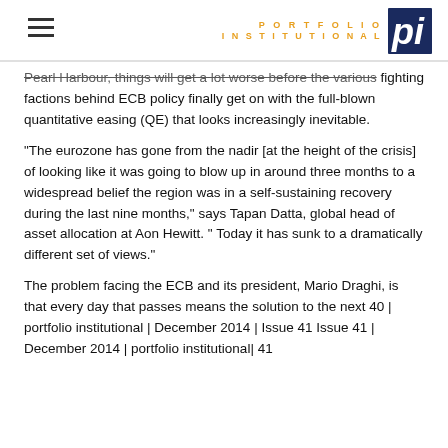PORTFOLIO INSTITUTIONAL
Pearl Harbour, things will get a lot worse before the various fighting factions behind ECB policy finally get on with the full-blown quantitative easing (QE) that looks increasingly inevitable.
"The eurozone has gone from the nadir [at the height of the crisis] of looking like it was going to blow up in around three months to a widespread belief the region was in a self-sustaining recovery during the last nine months," says Tapan Datta, global head of asset allocation at Aon Hewitt. " Today it has sunk to a dramatically different set of views."
The problem facing the ECB and its president, Mario Draghi, is that every day that passes means the solution to the next 40 | portfolio institutional | December 2014 | Issue 41 Issue 41 | December 2014 | portfolio institutional| 41